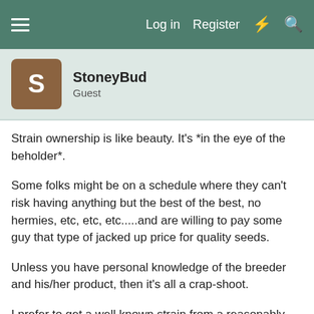≡   Log in   Register   ⚡   🔍
StoneyBud
Guest
Strain ownership is like beauty. It's *in the eye of the beholder*.
Some folks might be on a schedule where they can't risk having anything but the best of the best, no hermies, etc, etc, etc.....and are willing to pay some guy that type of jacked up price for quality seeds.
Unless you have personal knowledge of the breeder and his/her product, then it's all a crap-shoot.
I prefer to get a well known strain from a reasonably priced vendor and grow host plants. Then high-grade those plants for their phenotype through test grows